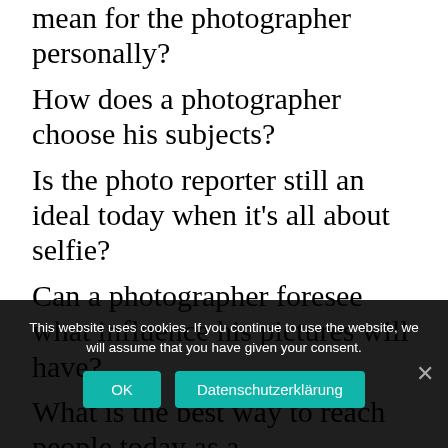mean for the photographer personally? How does a photographer choose his subjects? Is the photo reporter still an ideal today when it’s all about selfie? Can a photographer foresee what influence his pictures will have? What is the best way to reach people today as a photographer? What is the day of a war reporter? Rather romantic or full of fear?
This website uses cookies. If you continue to use the website, we will assume that you have given your consent.
OK
Datenschutzerklärung